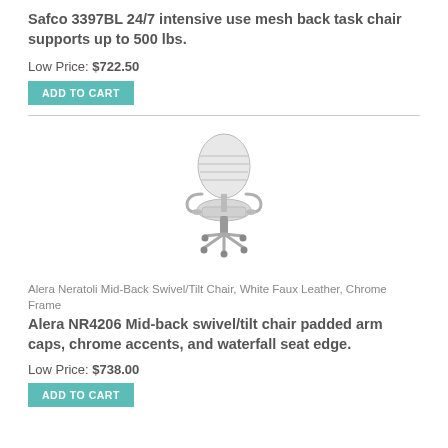Safco 3397BL 24/7 intensive use mesh back task chair supports up to 500 lbs.
Low Price: $722.50
ADD TO CART
[Figure (photo): Office chair - Alera Neratoli Mid-Back Swivel/Tilt Chair in white faux leather with chrome frame]
Alera Neratoli Mid-Back Swivel/Tilt Chair, White Faux Leather, Chrome Frame
Alera NR4206 Mid-back swivel/tilt chair padded arm caps, chrome accents, and waterfall seat edge.
Low Price: $738.00
ADD TO CART